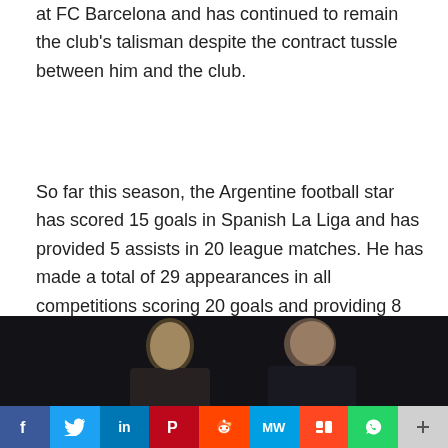at FC Barcelona and has continued to remain the club's talisman despite the contract tussle between him and the club.
So far this season, the Argentine football star has scored 15 goals in Spanish La Liga and has provided 5 assists in 20 league matches. He has made a total of 29 appearances in all competitions scoring 20 goals and providing 8 assists.
See also  Transfer Update on Cristiano Ronaldo, Antony, Lisandro Martinez, Frenkie De Jong, Serge Gnabry, Tagliafico, Tielemans, and Others
[Figure (photo): Two people, a younger man and an older man, photographed together in a dark setting.]
[Figure (infographic): Social media sharing bar with icons: Facebook (f), Twitter (bird), LinkedIn (in), Pinterest (P), Reddit (alien), MW, Mix (m), WhatsApp, and More (+)]